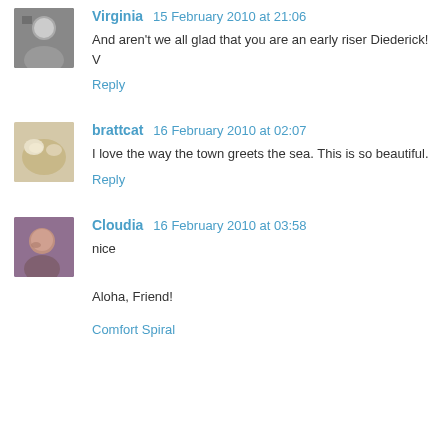Virginia  15 February 2010 at 21:06
And aren't we all glad that you are an early riser Diederick! V
Reply
brattcat  16 February 2010 at 02:07
I love the way the town greets the sea. This is so beautiful.
Reply
Cloudia  16 February 2010 at 03:58
nice
Aloha, Friend!
Comfort Spiral